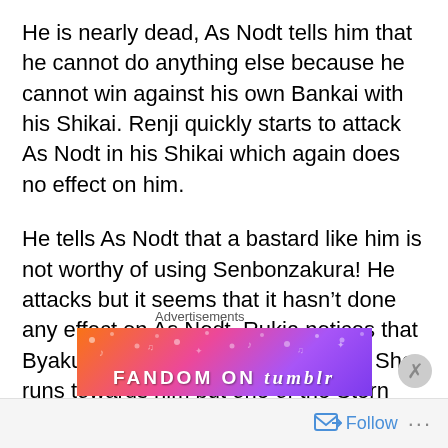He is nearly dead, As Nodt tells him that he cannot do anything else because he cannot win against his own Bankai with his Shikai. Renji quickly starts to attack As Nodt in his Shikai which again does no effect on him.
He tells As Nodt that a bastard like him is not worthy of using Senbonzakura! He attacks but it seems that it hasn't done any effect on As Nodt. Rukia notices that Byakuya's reiatsu has disappeared. She runs towards him but one of the Stern Ritter's tells her that she should not turn her back at the enemy during a fight because then she must be underestimating him
Advertisements
[Figure (other): Fandom on Tumblr advertisement banner with colorful gradient background (orange, pink, purple) and sparkle decorations]
Follow ...